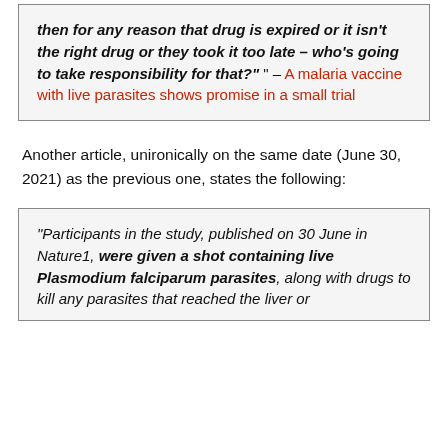then for any reason that drug is expired or it isn't the right drug or they took it too late – who's going to take responsibility for that?" " – A malaria vaccine with live parasites shows promise in a small trial
Another article, unironically on the same date (June 30, 2021) as the previous one, states the following:
"Participants in the study, published on 30 June in Nature1, were given a shot containing live Plasmodium falciparum parasites, along with drugs to kill any parasites that reached the liver or